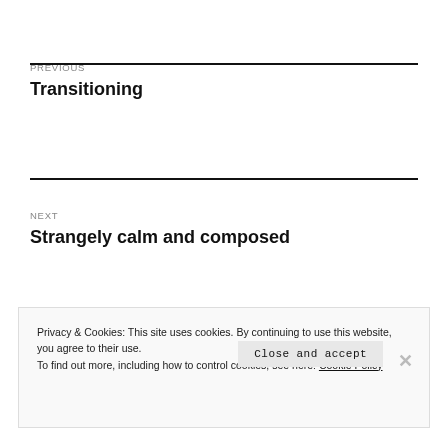PREVIOUS
Transitioning
NEXT
Strangely calm and composed
Privacy & Cookies: This site uses cookies. By continuing to use this website, you agree to their use.
To find out more, including how to control cookies, see here: Cookie Policy
Close and accept